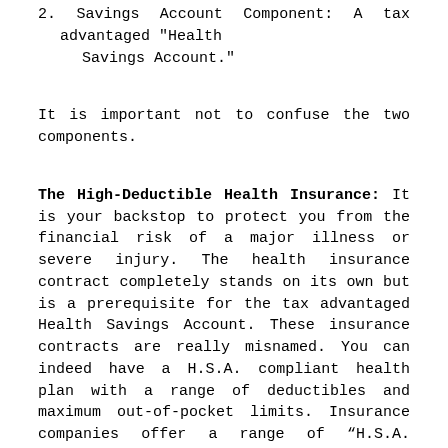2. Savings Account Component: A tax advantaged "Health Savings Account."
It is important not to confuse the two components.
The High-Deductible Health Insurance: It is your backstop to protect you from the financial risk of a major illness or severe injury. The health insurance contract completely stands on its own but is a prerequisite for the tax advantaged Health Savings Account. These insurance contracts are really misnamed. You can indeed have a H.S.A. compliant health plan with a range of deductibles and maximum out-of-pocket limits. Insurance companies offer a range of “H.S.A. compliant plans” with different features within the IRS rules — just find a plan that makes sense for you. Be sure that any plan you select is labeled as H.S.A. compliant or compatible. Very few of us can afford the healthcare costs of an illness such as cancer, heart attack or a severe injury. These costs can run into the hundreds of thousands. My older brother’s